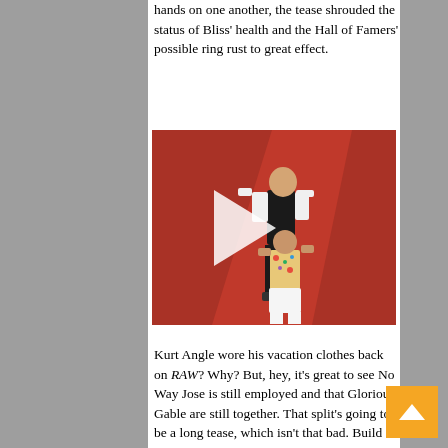hands on one another, the tease shrouded the status of Bliss' health and the Hall of Famers' possible ring rust to great effect.
[Figure (photo): A wrestler in black vest and black pants being lifted by another wrestler in a colorful hawaiian shirt and white shorts, against a red WWE backdrop with a play button overlay.]
Kurt Angle wore his vacation clothes back on RAW? Why? But, hey, it's great to see No Way Jose is still employed and that Glorious Gable are still together. That split's going to be a long tease, which isn't that bad. Build everyone up to care for this team before crushing their hearts, I always say. Acting RAW GM Baron Corbin scheduling Kurt against the AOP in a 2-on-1 Handicap Match reeked of passive-aggressive vengeance, but Angle's smarter here because he's had more